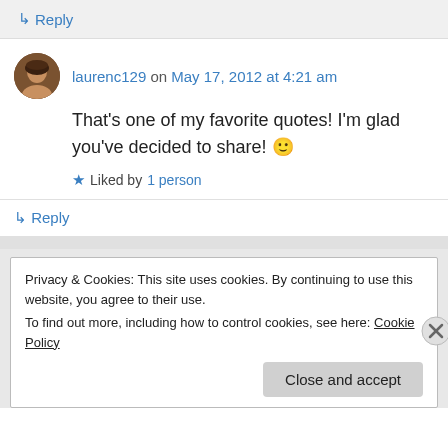↳ Reply
laurenc129 on May 17, 2012 at 4:21 am
That's one of my favorite quotes! I'm glad you've decided to share! 🙂
★ Liked by 1 person
↳ Reply
Privacy & Cookies: This site uses cookies. By continuing to use this website, you agree to their use. To find out more, including how to control cookies, see here: Cookie Policy
Close and accept